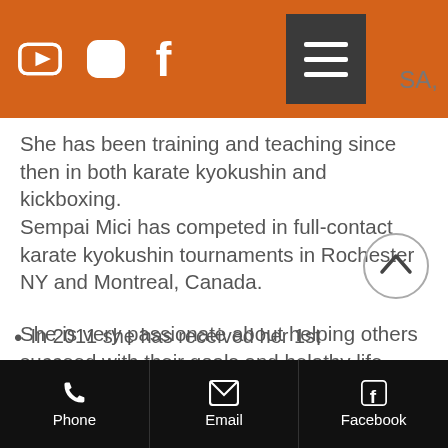[Figure (screenshot): Orange navigation bar with YouTube, Instagram, Facebook icons and a dark hamburger menu button. Partial text 'SA,' visible on the right.]
She has been training and teaching since then in both karate kyokushin and kickboxing.
Sempai Mici has competed in full-contact karate kyokushin tournaments in Rochester NY and Montreal, Canada.
She is very passionate about helping others succeed with their goals and helathy life choices.
[Figure (other): Circle with upward chevron arrow (scroll to top button)]
In 2011 she has received her 1st
[Figure (screenshot): Black bottom navigation bar with Phone, Email, and Facebook icons and labels]